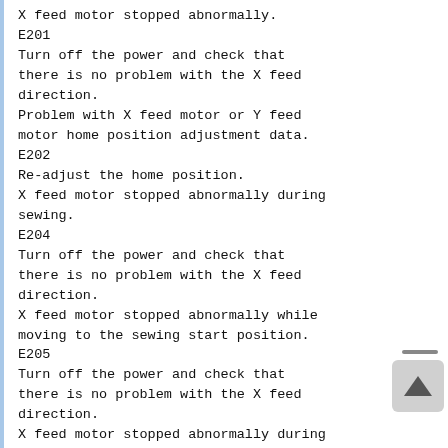X feed motor stopped abnormally.
E201
Turn off the power and check that there is no problem with the X feed direction.
Problem with X feed motor or Y feed motor home position adjustment data.
E202
Re-adjust the home position.
X feed motor stopped abnormally during sewing.
E204
Turn off the power and check that there is no problem with the X feed direction.
X feed motor stopped abnormally while moving to the sewing start position.
E205
Turn off the power and check that there is no problem with the X feed direction.
X feed motor stopped abnormally during